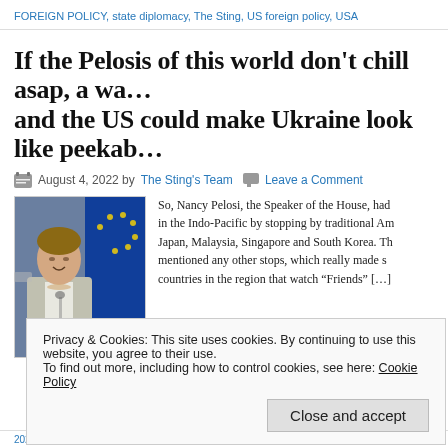FOREIGN POLICY, state diplomacy, The Sting, US foreign policy, USA
If the Pelosis of this world don't chill asap, a war and the US could make Ukraine look like peekaboo
August 4, 2022 by The Sting's Team   Leave a Comment
[Figure (photo): Photo of Nancy Pelosi in front of EU flags]
So, Nancy Pelosi, the Speaker of the House, had been in the Indo-Pacific by stopping by traditional Am... Japan, Malaysia, Singapore and South Korea. Th... mentioned any other stops, which really made s... countries in the region that watch "Friends" [...]
Privacy & Cookies: This site uses cookies. By continuing to use this website, you agree to their use.
To find out more, including how to control cookies, see here: Cookie Policy
Close and accept
2022, Speaker of the House Taiwan August 2022, The European Sting, The Sting, T